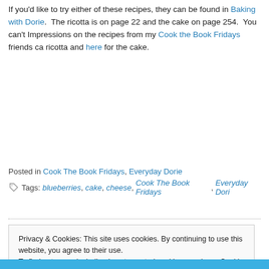If you'd like to try either of these recipes, they can be found in Baking with Dorie. The ricotta is on page 22 and the cake on page 254. You can't... Impressions on the recipes from my Cook the Book Fridays friends can... ricotta and here for the cake.
Posted in Cook The Book Fridays, Everyday Dorie
Tags: blueberries, cake, cheese, Cook The Book Fridays, Everyday Dori...
Privacy & Cookies: This site uses cookies. By continuing to use this website, you agree to their use.
To find out more, including how to control cookies, see here: Cookie Policy
Close and accept